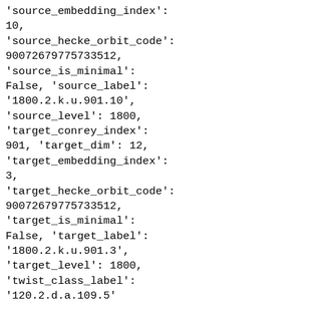'source_embedding_index': 10, 'source_hecke_orbit_code': 90072679775733512, 'source_is_minimal': False, 'source_label': '1800.2.k.u.901.10', 'source_level': 1800, 'target_conrey_index': 901, 'target_dim': 12, 'target_embedding_index': 3, 'target_hecke_orbit_code': 90072679775733512, 'target_is_minimal': False, 'target_label': '1800.2.k.u.901.3', 'target_level': 1800, 'twist_class_label': '120.2.d.a.109.5'